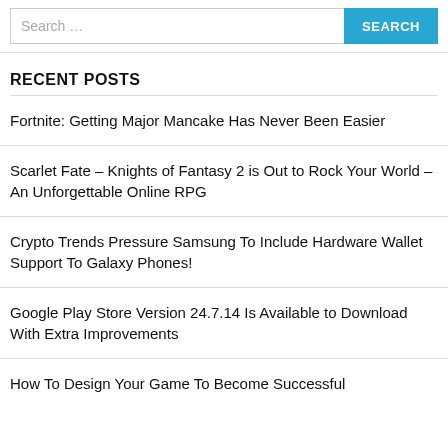Search ...
RECENT POSTS
Fortnite: Getting Major Mancake Has Never Been Easier
Scarlet Fate – Knights of Fantasy 2 is Out to Rock Your World – An Unforgettable Online RPG
Crypto Trends Pressure Samsung To Include Hardware Wallet Support To Galaxy Phones!
Google Play Store Version 24.7.14 Is Available to Download With Extra Improvements
How To Design Your Game To Become Successful